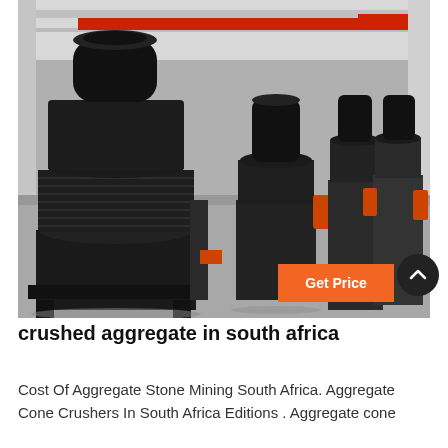[Figure (photo): Industrial factory floor showing multiple large cone crushers and mining equipment lined up in a warehouse with overhead crane rails visible.]
crushed aggregate in south africa
Cost Of Aggregate Stone Mining South Africa. Aggregate Cone Crushers In South Africa Editions . Aggregate cone